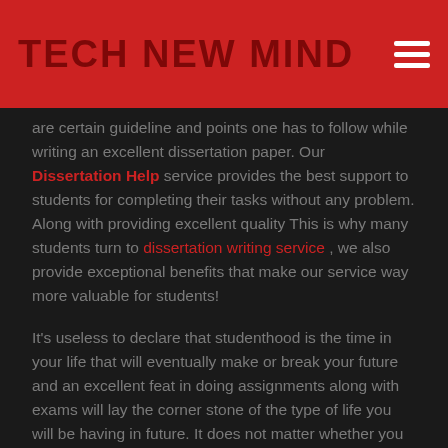TECH NEW MIND
are certain guideline and points one has to follow while writing an excellent dissertation paper. Our Dissertation Help service provides the best support to students for completing their tasks without any problem. Along with providing excellent quality This is why many students turn to dissertation writing service , we also provide exceptional benefits that make our service way more valuable for students!
It's useless to declare that studenthood is the time in your life that will eventually make or break your future and an excellent feat in doing assignments along with exams will lay the corner stone of the type of life you will be having in future. It does not matter whether you are doing graduation, post-graduation, doctorate or any other career-focused courses, attaining good grades is essential for your